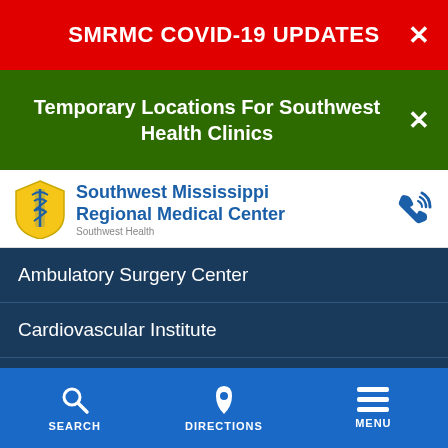SMRMC COVID-19 UPDATES
Temporary Locations For Southwest Health Clinics
[Figure (logo): Southwest Mississippi Regional Medical Center logo with blue shield and caduceus icon, text reads Southwest Mississippi Regional Medical Center, Southwest Health]
Ambulatory Surgery Center
Cardiovascular Institute
Gastroenterology
SEARCH   DIRECTIONS   MENU